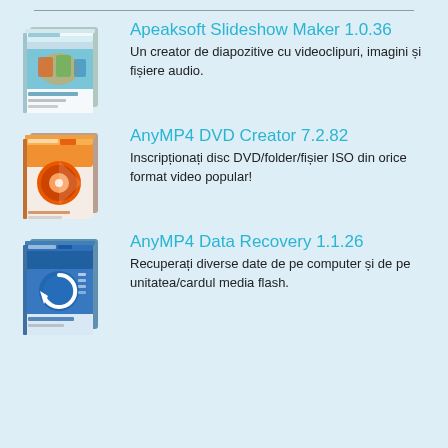[Figure (illustration): Apeaksoft Slideshow Maker software box product image]
Apeaksoft Slideshow Maker 1.0.36
Un creator de diapozitive cu videoclipuri, imagini și fișiere audio.
[Figure (illustration): AnyMP4 DVD Creator software box product image]
AnyMP4 DVD Creator 7.2.82
Inscripționați disc DVD/folder/fișier ISO din orice format video popular!
[Figure (illustration): AnyMP4 Data Recovery software box product image]
AnyMP4 Data Recovery 1.1.26
Recuperați diverse date de pe computer și de pe unitatea/cardul media flash.